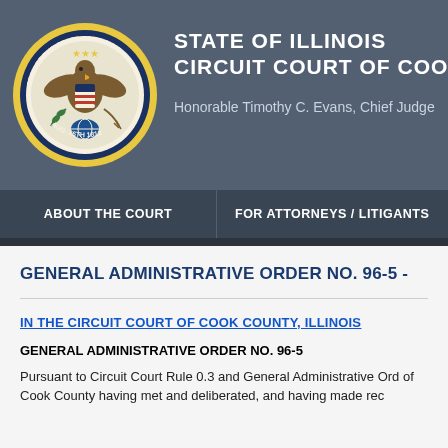STATE OF ILLINOIS CIRCUIT COURT OF COOK
Honorable Timothy C. Evans, Chief Judge
ABOUT THE COURT | FOR ATTORNEYS / LITIGANTS
GENERAL ADMINISTRATIVE ORDER NO. 96-5 -
IN THE CIRCUIT COURT OF COOK COUNTY, ILLINOIS
GENERAL ADMINISTRATIVE ORDER NO. 96-5
Pursuant to Circuit Court Rule 0.3 and General Administrative Ord of Cook County having met and deliberated, and having made rec